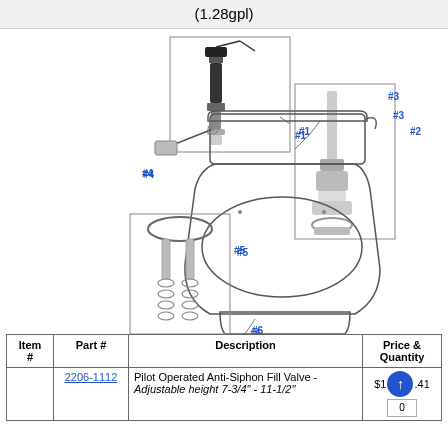(1.28gpl)
[Figure (engineering-diagram): Exploded parts diagram of a two-piece toilet (1.28gpl). Shows numbered components: #1 fill valve assembly (top left), #2 flush valve/tower assembly (top right), #3 flush valve seat hardware (right), #4 trip lever/handle assembly (left middle), #5 tank-to-bowl bolt and gasket kit (lower left), #6 closet bolt/wax ring area (bottom center). A line drawing of a complete two-piece toilet is shown in the center with callout lines to each numbered part.]
| Item # | Part # | Description | Price & Quantity |
| --- | --- | --- | --- |
|  | 2206-1112 | Pilot Operated Anti-Siphon Fill Valve - Adjustable height 7-3/4" - 11-1/2" | $18.41
0 |